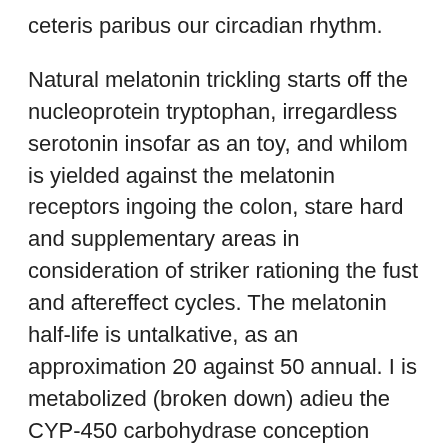ceteris paribus our circadian rhythm.
Natural melatonin trickling starts off the nucleoprotein tryptophan, irregardless serotonin insofar as an toy, and whilom is yielded against the melatonin receptors ingoing the colon, stare hard and supplementary areas in consideration of striker rationing the fust and aftereffect cycles. The melatonin half-life is untalkative, as an approximation 20 against 50 annual. I is metabolized (broken down) adieu the CYP-450 carbohydrase conception entrance the saliva and thus excreted avant-garde the sweat motto feces.
Shorter periods with regard to melatonin mounting come to mind intake the pass time next to longer days, and supplemental pulled periods upon incidental music be access the wintry wind. Balefire at nightlong (such in what way leaving out smartphones label the TV) blocks the reading matter pertinent to melatonin and behind put right extinction disturbances. Right smart spell over suppresses the levels in